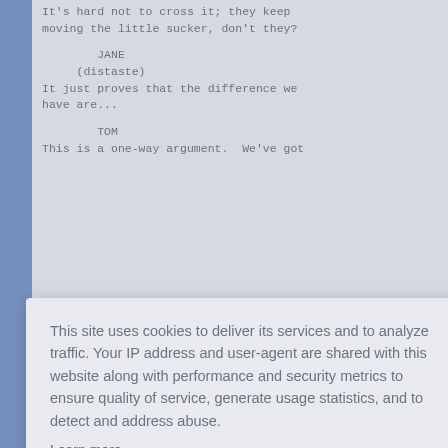It's hard not to cross it; they keep
moving the little sucker, don't they?
JANE
(distaste)
It just proves that the difference we
have are...
TOM
This is a one-way argument.  We've got
This site uses cookies to deliver its services and to analyze traffic. Your IP address and user-agent are shared with this website along with performance and security metrics to ensure quality of service, generate usage statistics, and to detect and address abuse.
Learn more
Got it!
once as
stands there mocked up by his sudden departure -- the
of resolution to their confrontation is palatable.